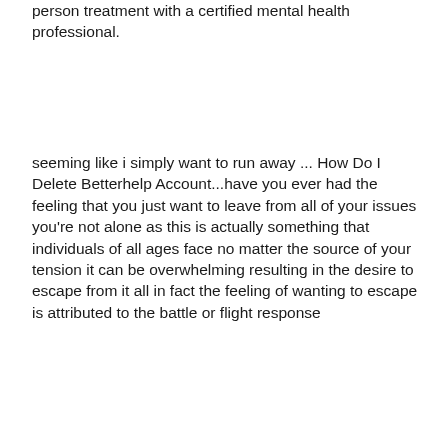person treatment with a certified mental health professional.
seeming like i simply want to run away ... How Do I Delete Betterhelp Account...have you ever had the feeling that you just want to leave from all of your issues you're not alone as this is actually something that individuals of all ages face no matter the source of your tension it can be overwhelming resulting in the desire to escape from it all in fact the feeling of wanting to escape is attributed to the battle or flight response